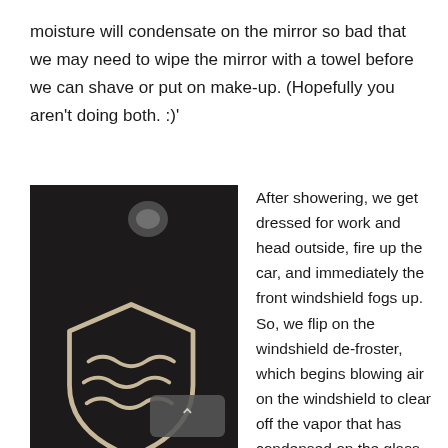moisture will condensate on the mirror so bad that we may need to wipe the mirror with a towel before we can shave or put on make-up. (Hopefully you aren't doing both. :)'
[Figure (photo): Dark background with a car windshield defroster button icon — a shield shape with horizontal wavy lines and an upward arrow — and a small circular water droplet near the top.]
After showering, we get dressed for work and head outside, fire up the car, and immediately the front windshield fogs up. So, we flip on the windshield de-froster, which begins blowing air on the windshield to clear off the vapor that has condensed on the glass.